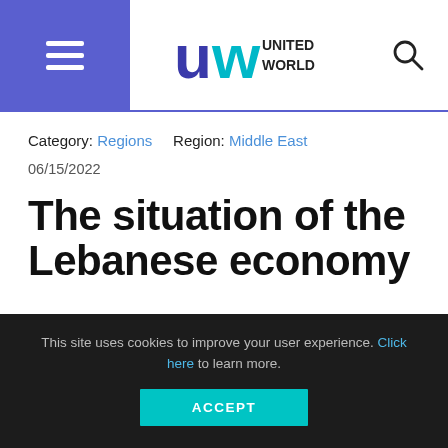United World — site header with hamburger menu, logo, and search icon
Category: Regions   Region: Middle East
06/15/2022
The situation of the Lebanese economy
This site uses cookies to improve your user experience. Click here to learn more.
ACCEPT